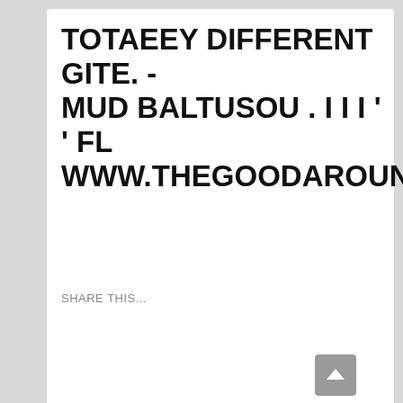TOTAEEY DIFFERENT GITE. - MUD BALTUSOU . I I I ' ' FL WWW.THEGOODAROUNDUS.COM
SHARE THIS...